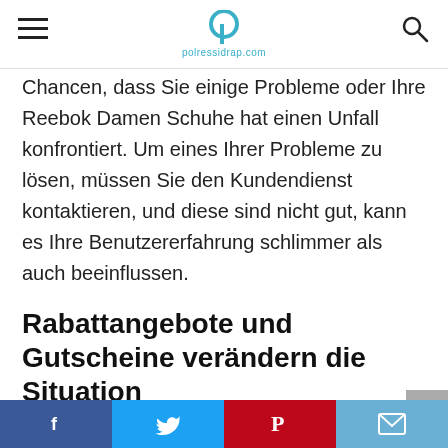polressidrap.com
Chancen, dass Sie einige Probleme oder Ihre Reebok Damen Schuhe hat einen Unfall konfrontiert. Um eines Ihrer Probleme zu lösen, müssen Sie den Kundendienst kontaktieren, und diese sind nicht gut, kann es Ihre Benutzererfahrung schlimmer als auch beeinflussen.
Rabattangebote und Gutscheine verändern die Situation
Rabatt-Angebote und Coupons zur Verfügung
Facebook Twitter Pinterest Email